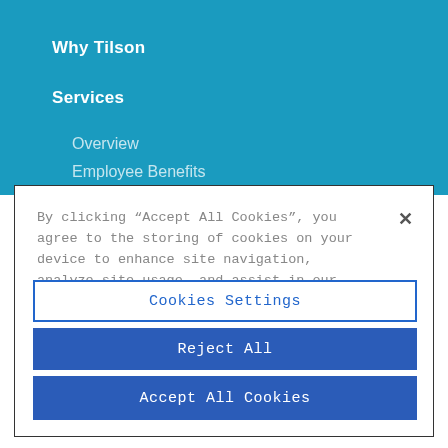Why Tilson
Services
Overview
Employee Benefits
By clicking “Accept All Cookies”, you agree to the storing of cookies on your device to enhance site navigation, analyze site usage, and assist in our marketing efforts.
Cookies Settings
Reject All
Accept All Cookies